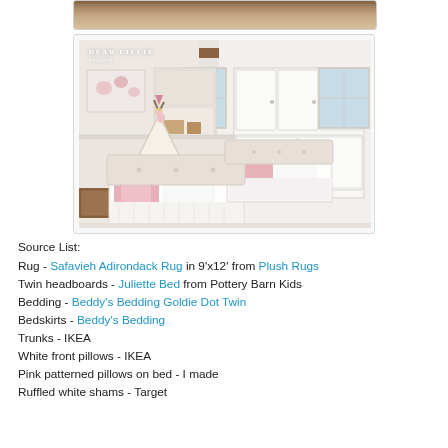[Figure (photo): Partial top photo showing rug/floor, cropped at top of page]
[Figure (photo): Dear Lillie watermarked bedroom photo showing twin beds with white bedding, pink patterned pillows, teepee tent, built-in white bookshelves and cabinets, windows with natural light]
Source List:
Rug - Safavieh Adirondack Rug in 9'x12' from Plush Rugs
Twin headboards - Juliette Bed from Pottery Barn Kids
Bedding - Beddy's Bedding Goldie Dot Twin
Bedskirts - Beddy's Bedding
Trunks - IKEA
White front pillows - IKEA
Pink patterned pillows on bed - I made
Ruffled white shams - Target